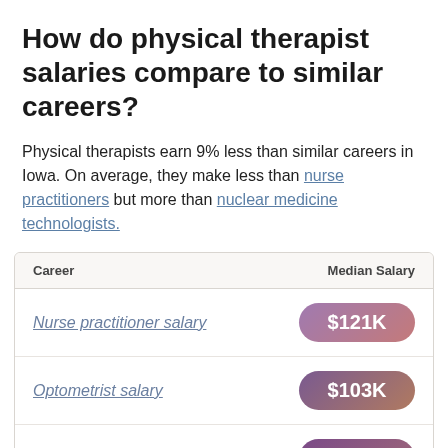How do physical therapist salaries compare to similar careers?
Physical therapists earn 9% less than similar careers in Iowa. On average, they make less than nurse practitioners but more than nuclear medicine technologists.
| Career | Median Salary |
| --- | --- |
| Nurse practitioner salary | $121K |
| Optometrist salary | $103K |
| Neuropsychologist salary | $114K |
| Health services manager salary | $80K |